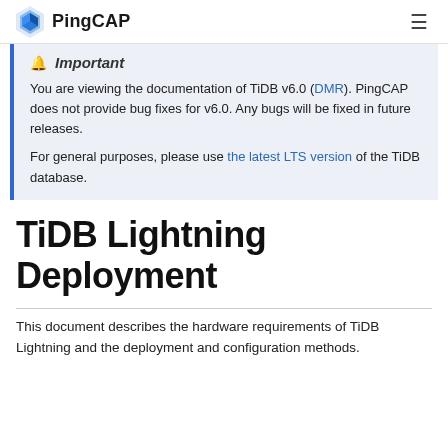PingCAP
Important
You are viewing the documentation of TiDB v6.0 (DMR). PingCAP does not provide bug fixes for v6.0. Any bugs will be fixed in future releases.
For general purposes, please use the latest LTS version of the TiDB database.
TiDB Lightning Deployment
This document describes the hardware requirements of TiDB Lightning and the deployment and configuration methods.